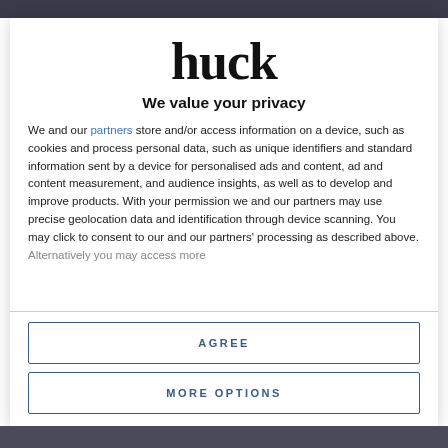[Figure (logo): Huck magazine logo in bold serif font]
We value your privacy
We and our partners store and/or access information on a device, such as cookies and process personal data, such as unique identifiers and standard information sent by a device for personalised ads and content, ad and content measurement, and audience insights, as well as to develop and improve products. With your permission we and our partners may use precise geolocation data and identification through device scanning. You may click to consent to our and our partners' processing as described above. Alternatively you may access more
AGREE
MORE OPTIONS